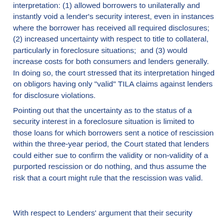interpretation: (1) allowed borrowers to unilaterally and instantly void a lender's security interest, even in instances where the borrower has received all required disclosures; (2) increased uncertainty with respect to title to collateral, particularly in foreclosure situations;  and (3) would increase costs for both consumers and lenders generally.  In doing so, the court stressed that its interpretation hinged on obligors having only "valid" TILA claims against lenders for disclosure violations.
Pointing out that the uncertainty as to the status of a security interest in a foreclosure situation is limited to those loans for which borrowers sent a notice of rescission within the three-year period, the Court stated that lenders could either sue to confirm the validity or non-validity of a purported rescission or do nothing, and thus assume the risk that a court might rule that the rescission was valid.
With respect to Lenders' argument that their security